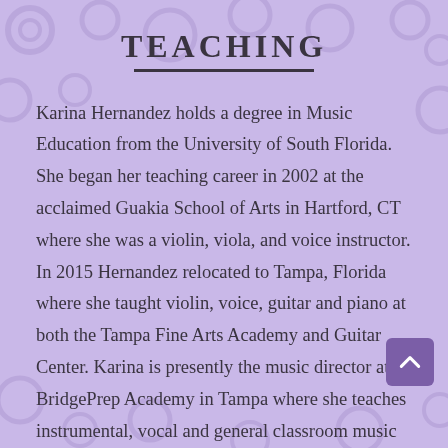TEACHING
Karina Hernandez holds a degree in Music Education from the University of South Florida. She began her teaching career in 2002 at the acclaimed Guakia School of Arts in Hartford, CT where she was a violin, viola, and voice instructor. In 2015 Hernandez relocated to Tampa, Florida where she taught violin, voice, guitar and piano at both the Tampa Fine Arts Academy and Guitar Center. Karina is presently the music director at BridgePrep Academy in Tampa where she teaches instrumental, vocal and general classroom music to students in grades Kindergarten through eighth. Ms. Hernandez is bilingual (English and Spanish) and her